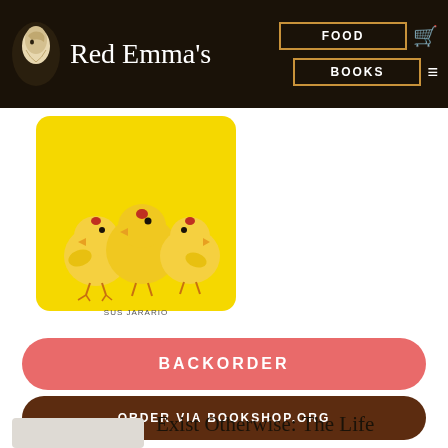Red Emma's — FOOD | BOOKS
[Figure (illustration): Book cover thumbnail showing three yellow cartoon chicks on a yellow background, with text 'SUS JARARIO' at bottom]
BACKORDER
ORDER VIA BOOKSHOP.ORG
[Figure (illustration): Small book thumbnail with gray background]
Exist Otherwise: The Life